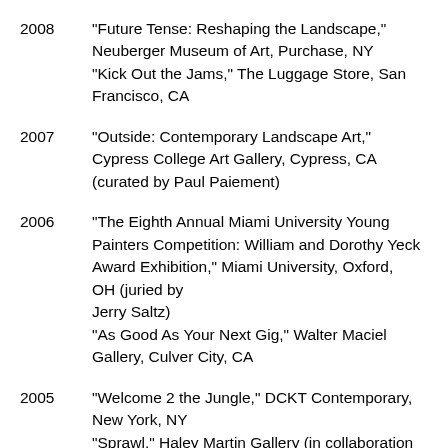2008	"Future Tense: Reshaping the Landscape," Neuberger Museum of Art, Purchase, NY
"Kick Out the Jams," The Luggage Store, San Francisco, CA
2007	"Outside: Contemporary Landscape Art," Cypress College Art Gallery, Cypress, CA (curated by Paul Paiement)
2006	"The Eighth Annual Miami University Young Painters Competition: William and Dorothy Yeck Award Exhibition," Miami University, Oxford, OH (juried by Jerry Saltz)
"As Good As Your Next Gig," Walter Maciel Gallery, Culver City, CA
2005	"Welcome 2 the Jungle," DCKT Contemporary, New York, NY
"Sprawl," Haley Martin Gallery (in collaboration